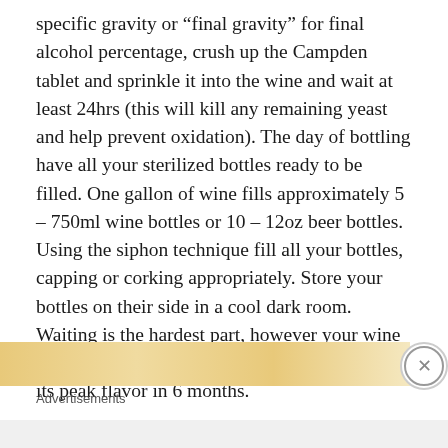specific gravity or “final gravity” for final alcohol percentage, crush up the Campden tablet and sprinkle it into the wine and wait at least 24hrs (this will kill any remaining yeast and help prevent oxidation). The day of bottling have all your sterilized bottles ready to be filled. One gallon of wine fills approximately 5 – 750ml wine bottles or 10 – 12oz beer bottles. Using the siphon technique fill all your bottles, capping or corking appropriately. Store your bottles on their side in a cool dark room. Waiting is the hardest part, however your wine will be ready in one more month and will reach its peak flavor in 6 months.
[Figure (other): Advertisement banner with golden/tan background and a small red image element, with a close (X) button on the right]
Advertisements